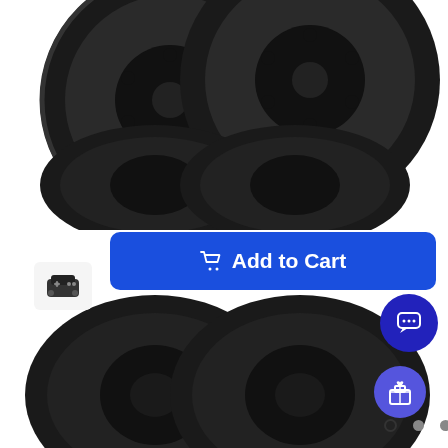[Figure (photo): Black RC wheel/rim product photo (1.0 Method MR307 Hole Wheels 4pc) on white background, showing two black beadlock-style wheels]
Add to Cart
Add to Cart
1.0 Method MR307 Hole Wheels (4pc...
$4.99
Axial